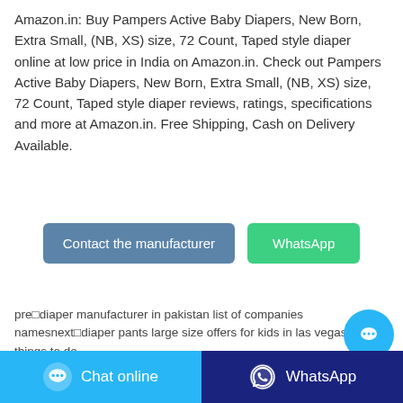Amazon.in: Buy Pampers Active Baby Diapers, New Born, Extra Small, (NB, XS) size, 72 Count, Taped style diaper online at low price in India on Amazon.in. Check out Pampers Active Baby Diapers, New Born, Extra Small, (NB, XS) size, 72 Count, Taped style diaper reviews, ratings, specifications and more at Amazon.in. Free Shipping, Cash on Delivery Available.
[Figure (other): Two buttons side by side: 'Contact the manufacturer' (steel blue) and 'WhatsApp' (green)]
pre□diaper manufacturer in pakistan list of companies namesnext□diaper pants large size offers for kids in las vegas things to do
Related Posts
friends diapers distributors coupon 2019 schedule diaper manufacturers in mumbai england online store
[Figure (other): Floating round chat bubble button (light blue) with ellipsis icon]
[Figure (other): Bottom bar with two buttons: 'Chat online' (light blue with chat icon) and 'WhatsApp' (dark blue with WhatsApp icon)]